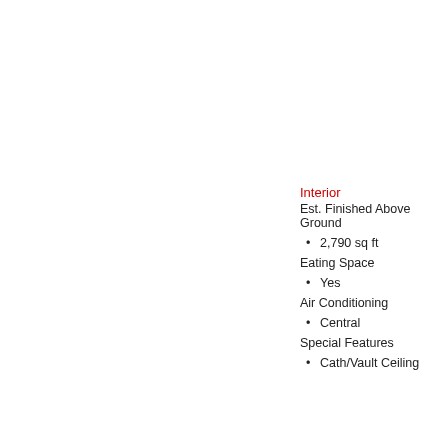Interior
Est. Finished Above Ground
2,790 sq ft
Eating Space
Yes
Air Conditioning
Central
Special Features
Cath/Vault Ceiling